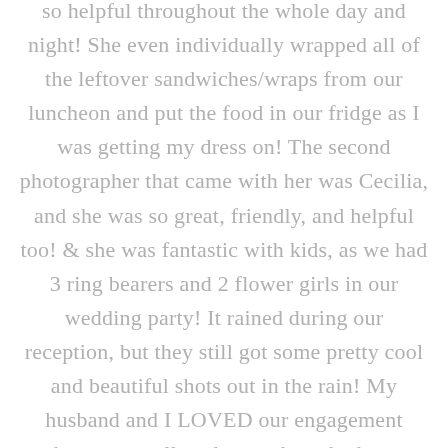so helpful throughout the whole day and night! She even individually wrapped all of the leftover sandwiches/wraps from our luncheon and put the food in our fridge as I was getting my dress on! The second photographer that came with her was Cecilia, and she was so great, friendly, and helpful too! & she was fantastic with kids, as we had 3 ring bearers and 2 flower girls in our wedding party! It rained during our reception, but they still got some pretty cool and beautiful shots out in the rain! My husband and I LOVED our engagement photos, as well as the sneak peek photos from our wedding! & We are so excited to